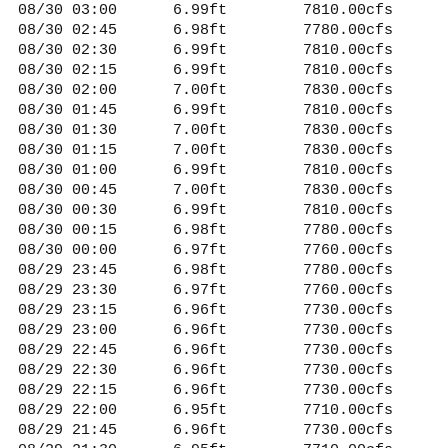| Date/Time | Stage | Flow |
| --- | --- | --- |
| 08/30 03:00 | 6.99ft | 7810.00cfs |
| 08/30 02:45 | 6.98ft | 7780.00cfs |
| 08/30 02:30 | 6.99ft | 7810.00cfs |
| 08/30 02:15 | 6.99ft | 7810.00cfs |
| 08/30 02:00 | 7.00ft | 7830.00cfs |
| 08/30 01:45 | 6.99ft | 7810.00cfs |
| 08/30 01:30 | 7.00ft | 7830.00cfs |
| 08/30 01:15 | 7.00ft | 7830.00cfs |
| 08/30 01:00 | 6.99ft | 7810.00cfs |
| 08/30 00:45 | 7.00ft | 7830.00cfs |
| 08/30 00:30 | 6.99ft | 7810.00cfs |
| 08/30 00:15 | 6.98ft | 7780.00cfs |
| 08/30 00:00 | 6.97ft | 7760.00cfs |
| 08/29 23:45 | 6.98ft | 7780.00cfs |
| 08/29 23:30 | 6.97ft | 7760.00cfs |
| 08/29 23:15 | 6.96ft | 7730.00cfs |
| 08/29 23:00 | 6.96ft | 7730.00cfs |
| 08/29 22:45 | 6.96ft | 7730.00cfs |
| 08/29 22:30 | 6.96ft | 7730.00cfs |
| 08/29 22:15 | 6.96ft | 7730.00cfs |
| 08/29 22:00 | 6.95ft | 7710.00cfs |
| 08/29 21:45 | 6.96ft | 7730.00cfs |
| 08/29 21:30 | 6.95ft | 7710.00cfs |
| 08/29 21:15 | 6.94ft | 7690.00cfs |